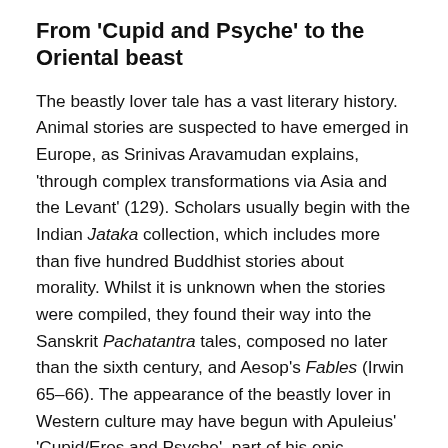From 'Cupid and Psyche' to the Oriental beast
The beastly lover tale has a vast literary history. Animal stories are suspected to have emerged in Europe, as Srinivas Aravamudan explains, 'through complex transformations via Asia and the Levant' (129). Scholars usually begin with the Indian Jataka collection, which includes more than five hundred Buddhist stories about morality. Whilst it is unknown when the stories were compiled, they found their way into the Sanskrit Pachatantra tales, composed no later than the sixth century, and Aesop's Fables (Irwin 65–66). The appearance of the beastly lover in Western culture may have begun with Apuleius' 'Cupid/Eros and Psyche', part of his epic romance The Golden Ass (dated 2 A.D), or the Panchatantra tale 'The Girl who Married a Snake' (Bottigheimer 5). Both tales are about the desirable, life-saving beast and the courageous suffering of